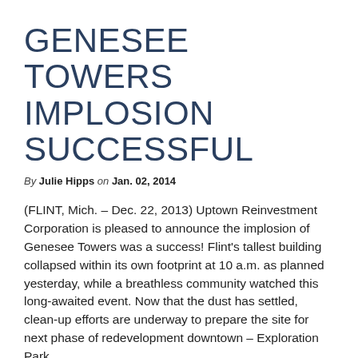GENESEE TOWERS IMPLOSION SUCCESSFUL
By Julie Hipps on Jan. 02, 2014
(FLINT, Mich. – Dec. 22, 2013) Uptown Reinvestment Corporation is pleased to announce the implosion of Genesee Towers was a success! Flint's tallest building collapsed within its own footprint at 10 a.m. as planned yesterday, while a breathless community watched this long-awaited event. Now that the dust has settled, clean-up efforts are underway to prepare the site for next phase of redevelopment downtown – Exploration Park.
Exploration Park will be a public park and learning space offering downtown residents, office workers and visitors welcoming green space in the heart of the urban center of Flint's downtown. The park project coincides with the